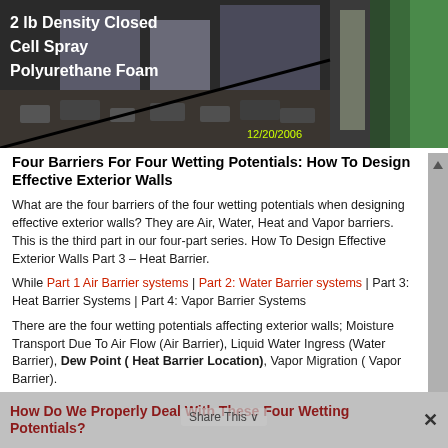[Figure (photo): Construction site photograph dated 12/20/2006 showing a building under construction with spray foam insulation. Text overlay reads '2 lb Density Closed Cell Spray Polyurethane Foam'. Right side shows green spray foam on wall interior.]
Four Barriers For Four Wetting Potentials: How To Design Effective Exterior Walls
What are the four barriers of the four wetting potentials when designing effective exterior walls? They are Air, Water, Heat and Vapor barriers. This is the third part in our four-part series. How To Design Effective Exterior Walls Part 3 – Heat Barrier.
While Part 1 Air Barrier systems | Part 2: Water Barrier systems | Part 3: Heat Barrier Systems | Part 4: Vapor Barrier Systems
There are the four wetting potentials affecting exterior walls; Moisture Transport Due To Air Flow (Air Barrier), Liquid Water Ingress (Water Barrier), Dew Point ( Heat Barrier Location), Vapor Migration ( Vapor Barrier).
How Do We Properly Deal With These Four Wetting Potentials?